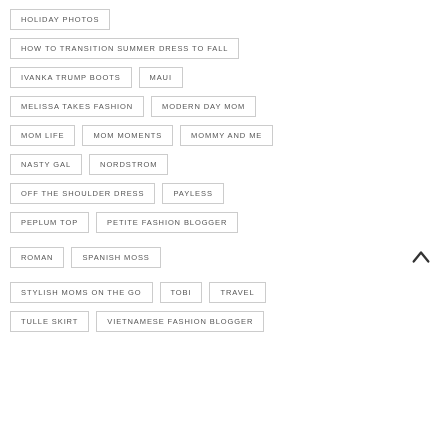HOLIDAY PHOTOS
HOW TO TRANSITION SUMMER DRESS TO FALL
IVANKA TRUMP BOOTS
MAUI
MELISSA TAKES FASHION
MODERN DAY MOM
MOM LIFE
MOM MOMENTS
MOMMY AND ME
NASTY GAL
NORDSTROM
OFF THE SHOULDER DRESS
PAYLESS
PEPLUM TOP
PETITE FASHION BLOGGER
ROMAN
SPANISH MOSS
STYLISH MOMS ON THE GO
TOBI
TRAVEL
TULLE SKIRT
VIETNAMESE FASHION BLOGGER